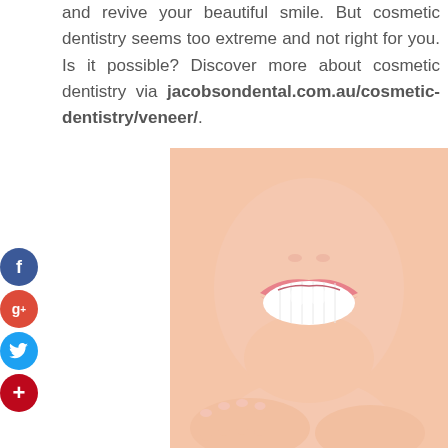and revive your beautiful smile. But cosmetic dentistry seems too extreme and not right for you. Is it possible? Discover more about cosmetic dentistry via jacobsondental.com.au/cosmetic-dentistry/veneer/.
[Figure (photo): Close-up photo of a woman smiling with bright white teeth, hands near her chin, pink lips, against a white background]